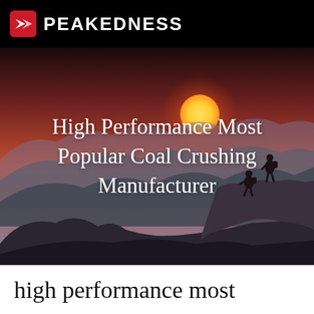PEAKEDNESS
[Figure (illustration): Silhouette of two hikers climbing a rocky mountain ridge at sunset with red/orange sky, large sun disc visible, purple-gray mountain layers in background. Overlaid white text reads 'High Performance Most Popular Coal Crushing Manufacturer']
High Performance Most Popular Coal Crushing Manufacturer
high performance most